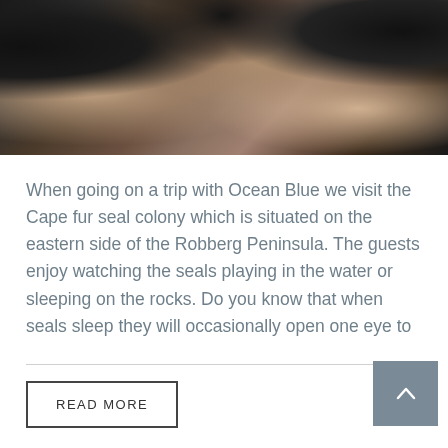[Figure (photo): Photograph of dark seals/animals on rocky terrain, closeup of rocks with brown, orange and dark tones]
When going on a trip with Ocean Blue we visit the Cape fur seal colony which is situated on the eastern side of the Robberg Peninsula. The guests enjoy watching the seals playing in the water or sleeping on the rocks. Do you know that when seals sleep they will occasionally open one eye to
READ MORE
Share This
[Figure (other): Facebook share icon button (letter f in a box)]
[Figure (other): Email share icon button (envelope in a box)]
[Figure (other): Back to top button (chevron up arrow on grey background)]